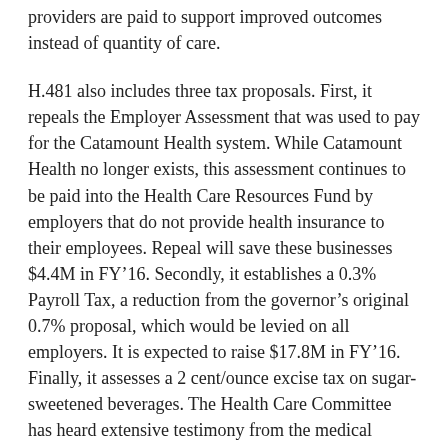providers are paid to support improved outcomes instead of quantity of care.
H.481 also includes three tax proposals. First, it repeals the Employer Assessment that was used to pay for the Catamount Health system. While Catamount Health no longer exists, this assessment continues to be paid into the Health Care Resources Fund by employers that do not provide health insurance to their employees. Repeal will save these businesses $4.4M in FY’16. Secondly, it establishes a 0.3% Payroll Tax, a reduction from the governor’s original 0.7% proposal, which would be levied on all employers. It is expected to raise $17.8M in FY’16. Finally, it assesses a 2 cent/ounce excise tax on sugar-sweetened beverages. The Health Care Committee has heard extensive testimony from the medical community who believe that a major contributing factor to the increased prevalence of obesity and type-2 diabetes is the increased consumption of sugar-sweetened beverages. This tax is anticipated to raise $30.9M in FY’17 revenue.